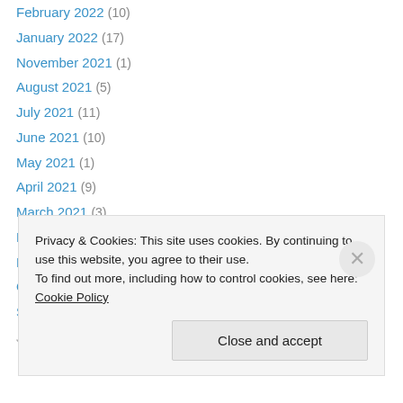February 2022 (10)
January 2022 (17)
November 2021 (1)
August 2021 (5)
July 2021 (11)
June 2021 (10)
May 2021 (1)
April 2021 (9)
March 2021 (3)
February 2021 (6)
November 2020 (9)
October 2020 (9)
September 2020 (6)
June 2020 (2)
Privacy & Cookies: This site uses cookies. By continuing to use this website, you agree to their use. To find out more, including how to control cookies, see here: Cookie Policy
Close and accept